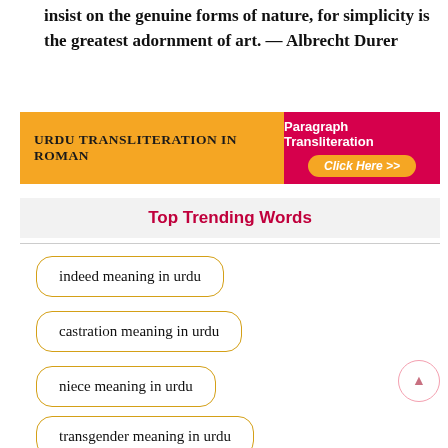insist on the genuine forms of nature, for simplicity is the greatest adornment of art. — Albrecht Durer
[Figure (infographic): Banner for Urdu Transliteration in Roman with orange left side and red right side containing Paragraph Transliteration Click Here button]
Top Trending Words
indeed meaning in urdu
castration meaning in urdu
niece meaning in urdu
transgender meaning in urdu